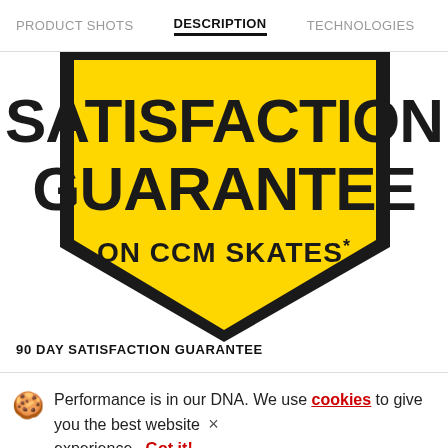PRODUCT SHOTS | DESCRIPTION | TECHNOLOGIES | SPECIFIC
[Figure (logo): CCM Satisfaction Guarantee badge — black pentagon/shield shape with yellow fill, bold black text reading SATISFACTION GUARANTEE ON CCM SKATES*]
90 DAY SATISFACTION GUARANTEE
Performance is in our DNA. We use cookies to give you the best website experience. Got it!